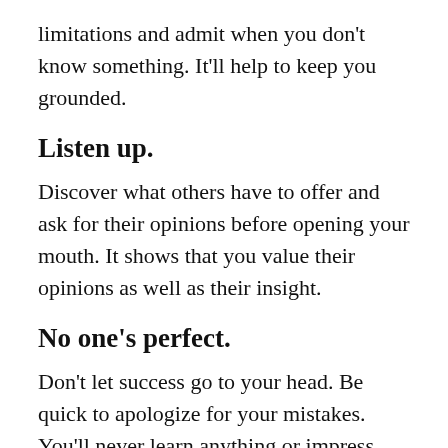limitations and admit when you don't know something. It'll help to keep you grounded.
Listen up.
Discover what others have to offer and ask for their opinions before opening your mouth. It shows that you value their opinions as well as their insight.
No one's perfect.
Don't let success go to your head. Be quick to apologize for your mistakes. You'll never learn anything or impress anyone by making excuses and diverting blame. And a little humility will remind you that you're human